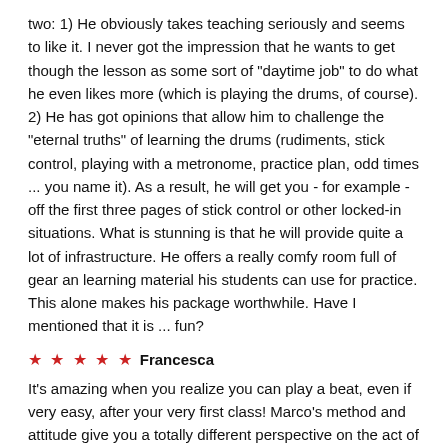two: 1) He obviously takes teaching seriously and seems to like it. I never got the impression that he wants to get though the lesson as some sort of "daytime job" to do what he even likes more (which is playing the drums, of course). 2) He has got opinions that allow him to challenge the "eternal truths" of learning the drums (rudiments, stick control, playing with a metronome, practice plan, odd times ... you name it). As a result, he will get you - for example - off the first three pages of stick control or other locked-in situations. What is stunning is that he will provide quite a lot of infrastructure. He offers a really comfy room full of gear an learning material his students can use for practice. This alone makes his package worthwhile. Have I mentioned that it is ... fun?
★ ★ ★ ★ ★  Francesca
It's amazing when you realize you can play a beat, even if very easy, after your very first class! Marco's method and attitude give you a totally different perspective on the act of playing drums. It's literally an experience, a great one which I highly recommend to music lovers!
★ ★ ★ ★ ★  Kenneth
Marco has all the qualities of a great teacher. He is friendly, inspiring, has a deep knowledge of his craft and makes you feel confident no